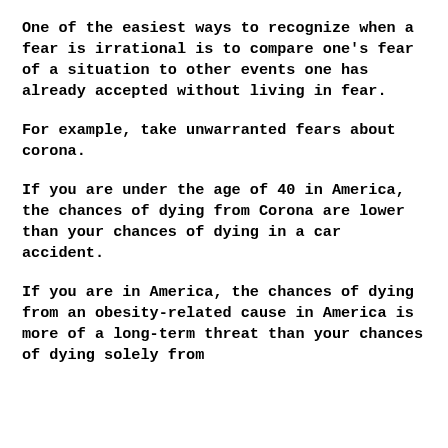One of the easiest ways to recognize when a fear is irrational is to compare one’s fear of a situation to other events one has already accepted without living in fear.
For example, take unwarranted fears about corona.
If you are under the age of 40 in America, the chances of dying from Corona are lower than your chances of dying in a car accident.
If you are in America, the chances of dying from an obesity-related cause in America is more of a long-term threat than your chances of dying solely from